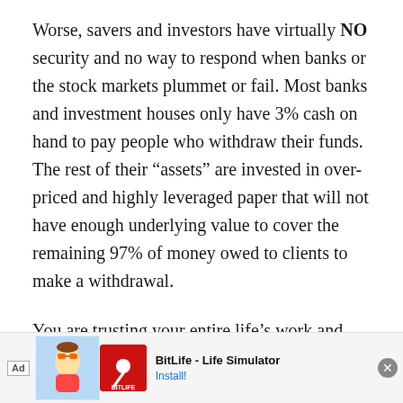Worse, savers and investors have virtually NO security and no way to respond when banks or the stock markets plummet or fail. Most banks and investment houses only have 3% cash on hand to pay people who withdraw their funds. The rest of their “assets” are invested in over-priced and highly leveraged paper that will not have enough underlying value to cover the remaining 97% of money owed to clients to make a withdrawal.
You are trusting your entire life’s work and savings will be returned to you by the same people who have created today’s corrupt financial hell. You are giving these [Ad] that prom most
[Figure (other): Advertisement banner for BitLife - Life Simulator app, showing Ad label, cartoon character image, red logo with sperm icon and BITLIFE text, app title, and Install button.]